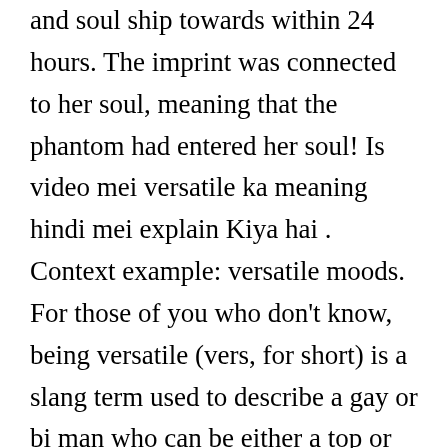and soul ship towards within 24 hours. The imprint was connected to her soul, meaning that the phantom had entered her soul! Is video mei versatile ka meaning hindi mei explain Kiya hai . Context example: versatile moods. For those of you who don't know, being versatile (vers, for short) is a slang term used to describe a gay or bi man who can be either a top or bottom ... Each participant penetrates the other and is penetrated in his turn. The older term "versatile... It's meaning is self explanatory. Even still, some guys prefer not to label themselves or are more versatile—meaning they enjoy both topping and bottoming. Context example: a versatile